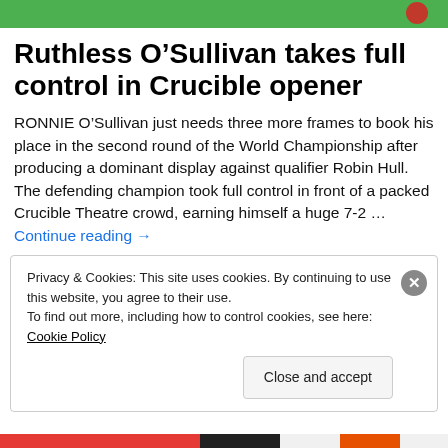[Figure (photo): Green snooker table surface with a red snooker ball visible at the right edge]
Ruthless O’Sullivan takes full control in Crucible opener
RONNIE O’Sullivan just needs three more frames to book his place in the second round of the World Championship after producing a dominant display against qualifier Robin Hull. The defending champion took full control in front of a packed Crucible Theatre crowd, earning himself a huge 7-2 … Continue reading →
Privacy & Cookies: This site uses cookies. By continuing to use this website, you agree to their use.
To find out more, including how to control cookies, see here: Cookie Policy
Close and accept